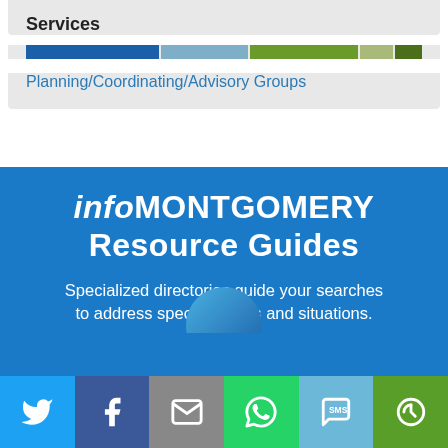Services
[Figure (infographic): Horizontal segmented progress/category bar with blue, light blue, green, light green, and dark green segments]
Planning/Coordinating/Advisory Groups
infoMONTGOMERY Resource Guides
Specialized directories guide your searches to address specific needs and situations.
[Figure (infographic): Social media sharing icon bar: Twitter, Facebook, Email, WhatsApp, SMS, and another icon on colored backgrounds]